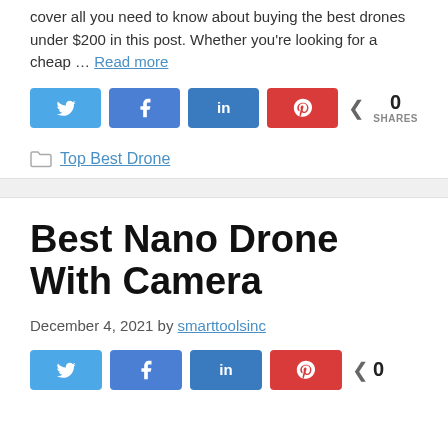cover all you need to know about buying the best drones under $200 in this post. Whether you're looking for a cheap … Read more
[Figure (infographic): Social share buttons: Twitter (light blue), Facebook (blue), LinkedIn (dark blue), Pinterest (red), and share count showing 0 SHARES]
Top Best Drone
Best Nano Drone With Camera
December 4, 2021 by smarttoolsinc
[Figure (infographic): Social share buttons row (partial): Twitter, Facebook, LinkedIn, Pinterest, and share count 0]